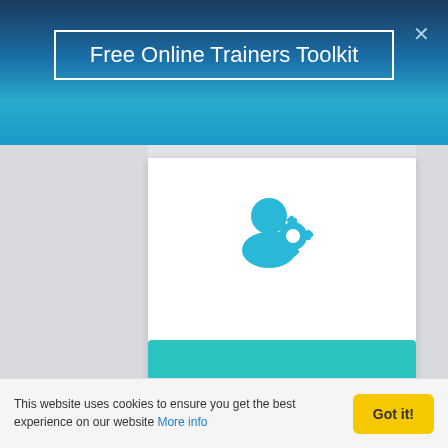Free Online Trainers Toolkit
[Figure (illustration): Cyan/blue icon of a person with a gear/settings symbol, representing client management or user settings]
Client Management
[Figure (other): 4.5 out of 5 star rating: four filled gold stars and one half/outline star]
[Figure (other): Teal button bar partially visible at the bottom of the card]
This website uses cookies to ensure you get the best experience on our website More info
Got it!